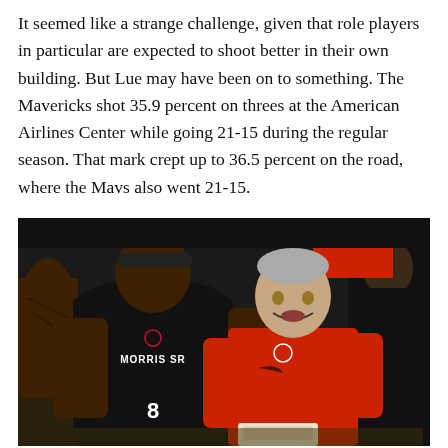It seemed like a strange challenge, given that role players in particular are expected to shoot better in their own building. But Lue may have been on to something. The Mavericks shot 35.9 percent on threes at the American Airlines Center while going 21-15 during the regular season. That mark crept up to 36.5 percent on the road, where the Mavs also went 21-15.
[Figure (photo): A basketball coach in a red long-sleeve Nike shirt crouching and talking to a player wearing a black Clippers jersey with 'MORRIS SR' and number 8 on the back, during a timeout on the sideline. Other people in black clothing are visible in the background.]